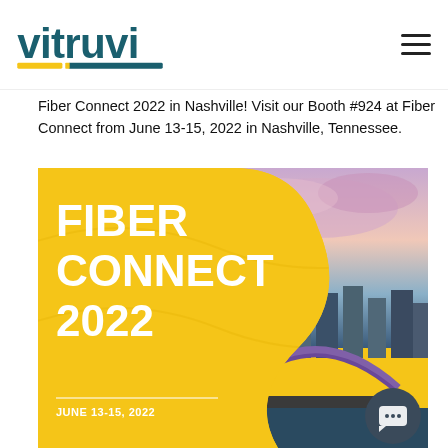vitruvi (logo) | hamburger menu
Fiber Connect 2022 in Nashville! Visit our Booth #924 at Fiber Connect from June 13-15, 2022 in Nashville, Tennessee.
[Figure (photo): Fiber Connect 2022 promotional image with yellow background, S-curve shape revealing Nashville cityscape with bridge and skyline, white bold text reading FIBER CONNECT 2022, date June 13-15, 2022, and a chat button in the bottom right corner.]